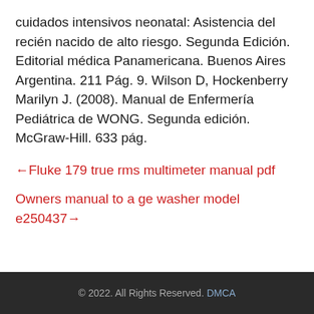cuidados intensivos neonatal: Asistencia del recién nacido de alto riesgo. Segunda Edición. Editorial médica Panamericana. Buenos Aires Argentina. 211 Pág. 9. Wilson D, Hockenberry Marilyn J. (2008). Manual de Enfermería Pediátrica de WONG. Segunda edición. McGraw-Hill. 633 pág.
←Fluke 179 true rms multimeter manual pdf
Owners manual to a ge washer model e250437→
© 2022. All Rights Reserved. DMCA